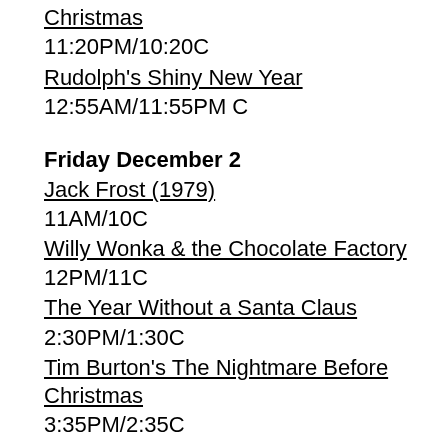Christmas
11:20PM/10:20C
Rudolph's Shiny New Year
12:55AM/11:55PM C
Friday December 2
Jack Frost (1979)
11AM/10C
Willy Wonka & the Chocolate Factory
12PM/11C
The Year Without a Santa Claus
2:30PM/1:30C
Tim Burton's The Nightmare Before Christmas
3:35PM/2:35C